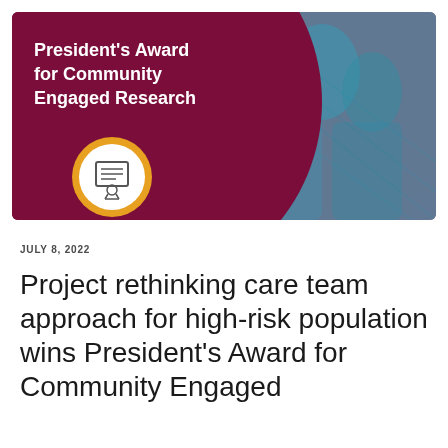[Figure (illustration): Banner image for President's Award for Community Engaged Research. Maroon background with a certificate/award icon in a gold and white circle on the left, and a blue-tinted photo of people on the right.]
JULY 8, 2022
Project rethinking care team approach for high-risk population wins President's Award for Community Engaged